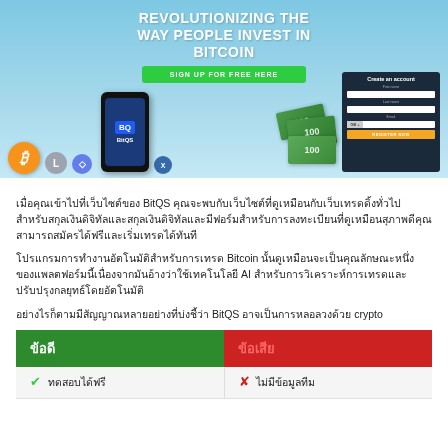[Figure (screenshot): BitQS cryptocurrency investment platform screenshot showing 'REVOLUTIONIZING THE WAY PEOPLE INVEST IN BITCOIN' banner with Sign Up button, crypto icons (Bitcoin, Litecoin, Ethereum, XRP), phone with BitQS app, euro bills, and account registration form]
Thai language paragraph 1
Thai language paragraph 2
Thai language paragraph 3
| ข้อดี | ข้อเสีย |
| --- | --- |
| ✔ xxxxxxxx | ✘ xxxxxxxxxx |